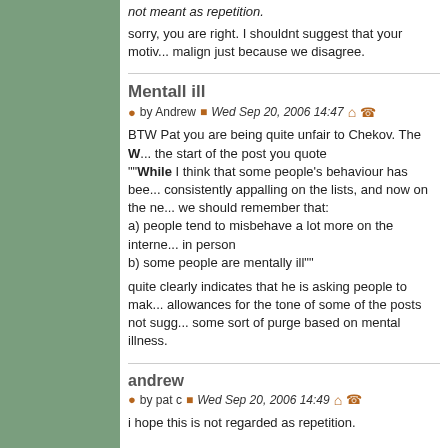not meant as repetition.
sorry, you are right. I shouldnt suggest that your motives are malign just because we disagree.
Mentall ill
by Andrew   Wed Sep 20, 2006 14:47
BTW Pat you are being quite unfair to Chekov. The W... the start of the post you quote ""While I think that some people's behaviour has been consistently appalling on the lists, and now on the ne... we should remember that:
a) people tend to misbehave a lot more on the interne... in person
b) some people are mentally ill""
quite clearly indicates that he is asking people to make allowances for the tone of some of the posts not sugg... some sort of purge based on mental illness.
andrew
by pat c   Wed Sep 20, 2006 14:49
i hope this is not regarded as repetition.